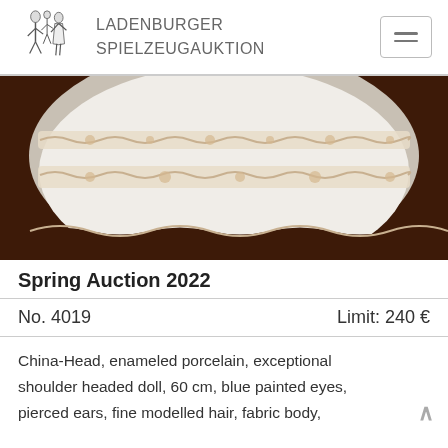LADENBURGER SPIELZEUGAUKTION
[Figure (photo): Close-up photo of a doll's white lace-trimmed dress/skirt with beige lace bands, on a dark brown background.]
Spring Auction 2022
No. 4019    Limit: 240 €
China-Head, enameled porcelain, exceptional shoulder headed doll, 60 cm, blue painted eyes, pierced ears, fine modelled hair, fabric body,